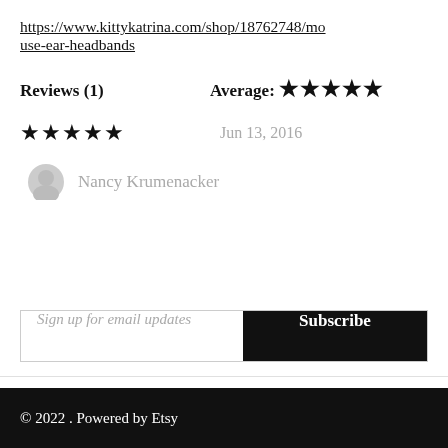https://www.kittykatrina.com/shop/18762748/mouse-ear-headbands
Reviews (1)
Average: ★★★★★
★★★★★   Jun 13, 2016
Nancy Krumenacker
Sign up for email updates
© 2022 . Powered by Etsy